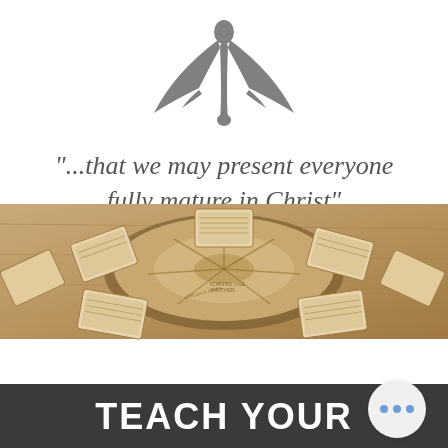[Figure (logo): Abstract stylized logo resembling a canopy or tent shape in gray]
"...that we may present everyone fully mature in Christ"
[Figure (other): Hamburger menu button inside a rounded rectangle border]
[Figure (photo): Overhead photo of wooden blocks with printed text arranged in a circular pattern on a wooden surface]
TEACH YOUR